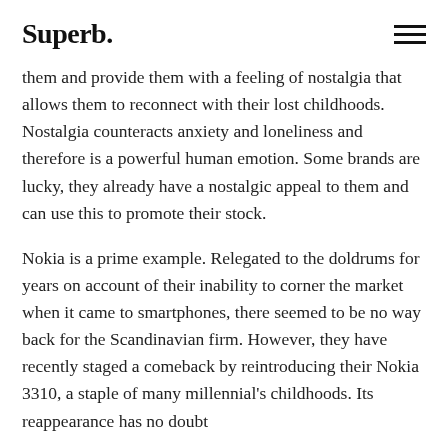Superb.
them and provide them with a feeling of nostalgia that allows them to reconnect with their lost childhoods. Nostalgia counteracts anxiety and loneliness and therefore is a powerful human emotion. Some brands are lucky, they already have a nostalgic appeal to them and can use this to promote their stock.
Nokia is a prime example. Relegated to the doldrums for years on account of their inability to corner the market when it came to smartphones, there seemed to be no way back for the Scandinavian firm. However, they have recently staged a comeback by reintroducing their Nokia 3310, a staple of many millennial's childhoods. Its reappearance has no doubt